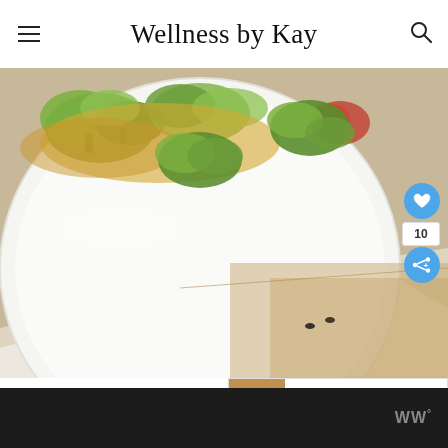Wellness by Kay
[Figure (photo): Close-up photo of a white plate with pieces of broccoli frittata or casserole, placed on a kraft paper background with scattered seeds. Heart (like) button showing count of 10 and a share button overlay on the right side.]
WHAT'S NEXT → Ground Turkey Sweet Potat...
W°